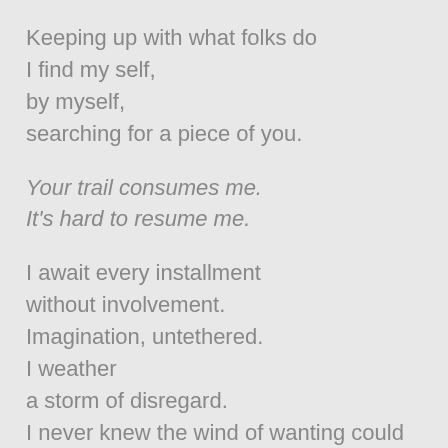Keeping up with what folks do
I find my self,
by myself,
searching for a piece of you.

Your trail consumes me.
It's hard to resume me.

I await every installment
without involvement.
Imagination, untethered.
I weather
a storm of disregard.
I never knew the wind of wanting could blow
so bitter and so hard.

With one click I work the hurt.